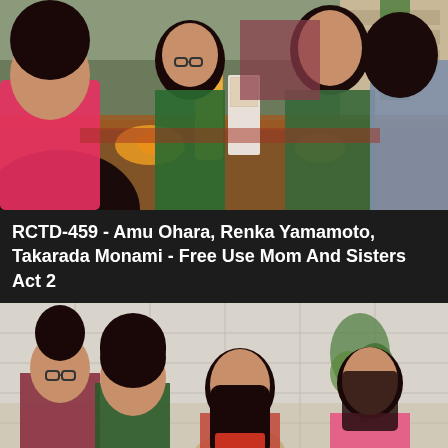[Figure (photo): Scene from video showing people gathered around a table with food and drinks including orange juice bottle and milk carton, indoor setting with shelving in background]
RCTD-459 - Amu Ohara, Renka Yamamoto, Takarada Monami - Free Use Mom And Sisters Act 2
[Figure (photo): Scene from video showing four people seated indoors, white tiled wall in background with plant, people appear to be in conversation]